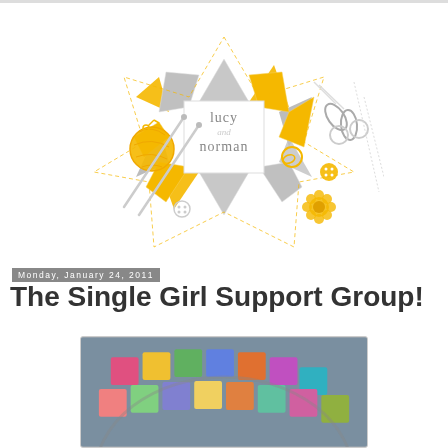[Figure (logo): Lucy and Norman blog logo: a eight-pointed star quilt block in yellow and gray with sewing/crafting icons (yarn ball, knitting needles, scissors, buttons, flower) surrounding it. Text reads 'lucy and norman' in the center square.]
Monday, January 24, 2011
The Single Girl Support Group!
[Figure (photo): Partial photo of a colorful quilt with bright fabrics arranged in a circular/arc pattern on a gray background.]